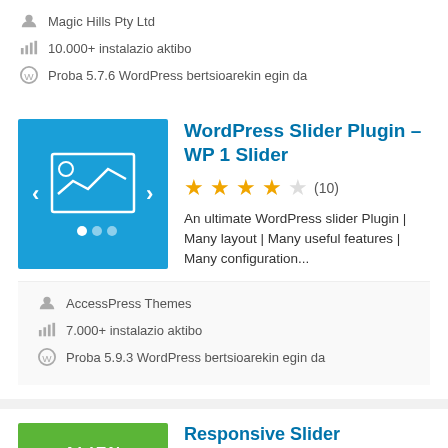Magic Hills Pty Ltd
10.000+ instalazio aktibo
Proba 5.7.6 WordPress bertsioarekin egin da
WordPress Slider Plugin – WP 1 Slider
[Figure (illustration): Blue slider plugin thumbnail with image/chart icon and left/right navigation arrows and dot indicators]
★★★★☆ (10)
An ultimate WordPress slider Plugin | Many layout | Many useful features | Many configuration...
AccessPress Themes
7.000+ instalazio aktibo
Proba 5.9.3 WordPress bertsioarekin egin da
Responsive Slider
[Figure (illustration): Green Alien WP Responsive slider plugin thumbnail]
★★★★☆ (34)